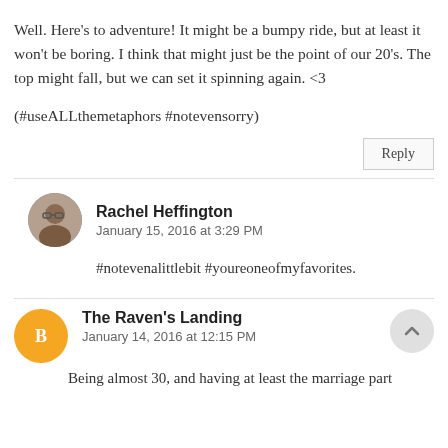Well. Here's to adventure! It might be a bumpy ride, but at least it won't be boring. I think that might just be the point of our 20's. The top might fall, but we can set it spinning again. <3
(#useALLthemetaphors #notevensorry)
Rachel Heffington
January 15, 2016 at 3:29 PM
#notevenalittlebit #youreoneofmyfavorites.
The Raven's Landing
January 14, 2016 at 12:15 PM
Being almost 30, and having at least the marriage part